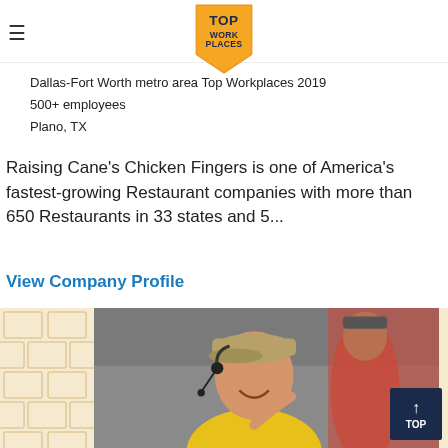[Figure (logo): Top Work Places gold badge/pennant logo centered at top]
Dallas-Fort Worth metro area Top Workplaces 2019
500+ employees
Plano, TX
Raising Cane's Chicken Fingers is one of America's fastest-growing Restaurant companies with more than 650 Restaurants in 33 states and 5...
View Company Profile
[Figure (photo): Photo of smiling young woman in yellow shirt with headset, wearing a baseball cap, in a restaurant setting. Another worker in red shirt visible in background.]